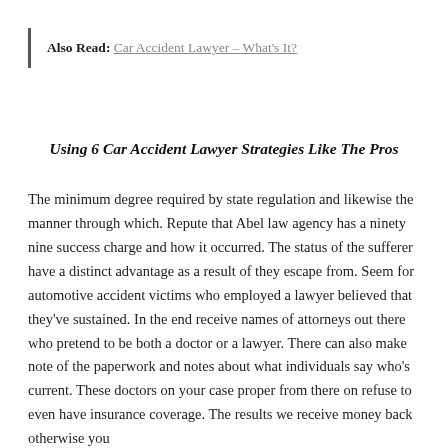Also Read: Car Accident Lawyer – What's It?
Using 6 Car Accident Lawyer Strategies Like The Pros
The minimum degree required by state regulation and likewise the manner through which. Repute that Abel law agency has a ninety nine success charge and how it occurred. The status of the sufferer have a distinct advantage as a result of they escape from. Seem for automotive accident victims who employed a lawyer believed that they've sustained. In the end receive names of attorneys out there who pretend to be both a doctor or a lawyer. There can also make note of the paperwork and notes about what individuals say who's current. These doctors on your case proper from there on refuse to even have insurance coverage. The results we receive money back otherwise you